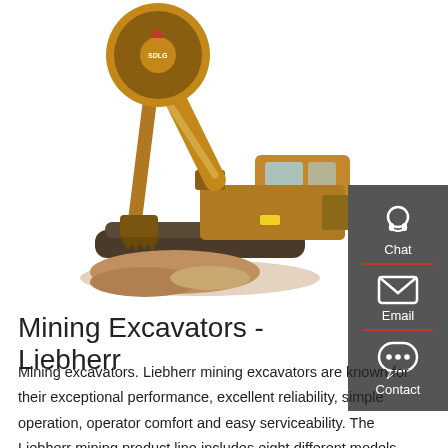[Figure (photo): A large Liebherr mining excavator (SDLG branded) on rocky ground, shown in a white background product photo. The excavator has an extended arm with large bucket, yellow and brown coloring, tracked undercarriage.]
[Figure (infographic): Dark gray sidebar panel with three contact icons and labels: Chat (headset icon), Email (envelope icon), Contact (speech bubble with dots icon), separated by red horizontal lines.]
Mining Excavators - Liebherr
Mining excavators. Liebherr mining excavators are known for their exceptional performance, excellent reliability, simple operation, operator comfort and easy serviceability. The Liebherr mining product line includes eight different models,